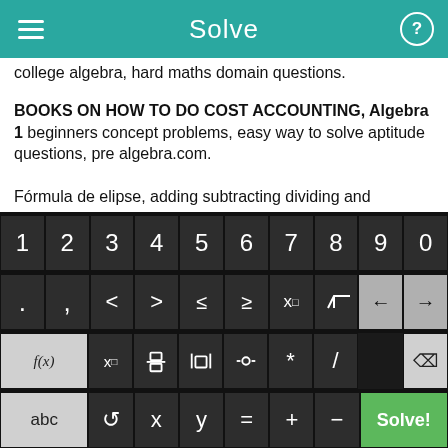Solve
college algebra, hard maths domain questions.
BOOKS ON HOW TO DO COST ACCOUNTING, Algebra 1 beginners concept problems, easy way to solve aptitude questions, pre algebra.com.
Fórmula de elipse, adding subtracting dividing and multiplying with negatives, How to solve alegebra problems, cube root in Ti-83, basic chemistry ppt.
Algebra 1 cheat hack, EXAMPLE RATIONAL EXPRESSION BY
[Figure (screenshot): Math keyboard with digits 0-9, operators including dot, comma, less-than, greater-than, less-than-or-equal, greater-than-or-equal, x^n, square root, backspace arrows; second row with f(x), x subscript, fraction, absolute value, parenthesis, multiply, divide, delete; bottom row with abc, undo, x, y, equals, plus, minus, Solve! button]